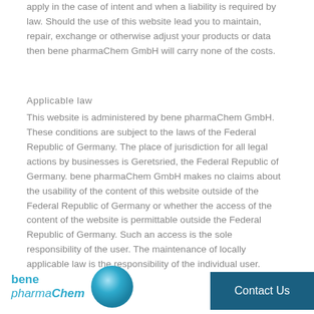apply in the case of intent and when a liability is required by law. Should the use of this website lead you to maintain, repair, exchange or otherwise adjust your products or data then bene pharmaChem GmbH will carry none of the costs.
Applicable law
This website is administered by bene pharmaChem GmbH. These conditions are subject to the laws of the Federal Republic of Germany. The place of jurisdiction for all legal actions by businesses is Geretsried, the Federal Republic of Germany. bene pharmaChem GmbH makes no claims about the usability of the content of this website outside of the Federal Republic of Germany or whether the access of the content of the website is permittable outside the Federal Republic of Germany. Such an access is the sole responsibility of the user. The maintenance of locally applicable law is the responsibility of the individual user.
[Figure (logo): bene pharmaChem GmbH logo with blue circle]